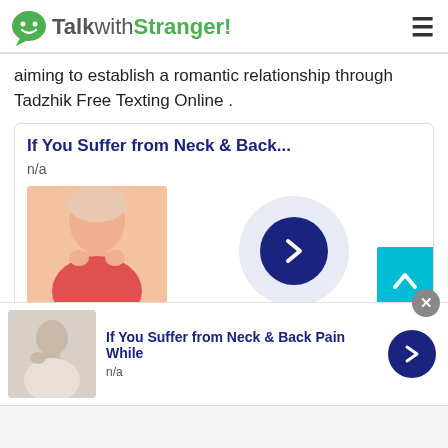TalkwithStranger!
aiming to establish a romantic relationship through Tadzhik Free Texting Online .
[Figure (screenshot): Advertisement card with title 'If You Suffer from Neck & Back...' showing n/a subtitle, a photo of an older woman in red touching her neck, a light purple circle with a dark blue arrow button, and a teal scroll-up button.]
[Figure (screenshot): Bottom banner ad: 'If You Suffer from Neck & Back Pain While' with n/a subtitle, photo of person touching shoulder, dark blue arrow button, and close X button.]